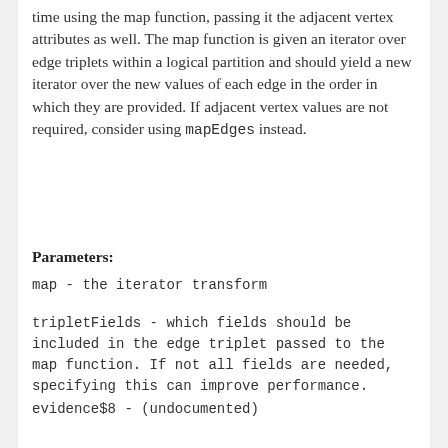time using the map function, passing it the adjacent vertex attributes as well. The map function is given an iterator over edge triplets within a logical partition and should yield a new iterator over the new values of each edge in the order in which they are provided. If adjacent vertex values are not required, consider using mapEdges instead.
Parameters:
map - the iterator transform
tripletFields - which fields should be included in the edge triplet passed to the map function. If not all fields are needed, specifying this can improve performance.
evidence$8 - (undocumented)
Returns:
(undocumented)
Note:
This does not change the structure of the graph or modify the values of this graph,